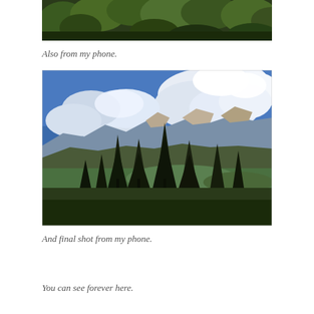[Figure (photo): Top cropped portion of a nature/forest photo showing green treetops against a dark background]
Also from my phone.
[Figure (photo): Mountain landscape photo taken from a high vantage point showing dramatic white clouds in blue sky, rocky mountain peaks in background, green valley below, and dark conifer trees in foreground with a road visible at lower left]
And final shot from my phone.
You can see forever here.